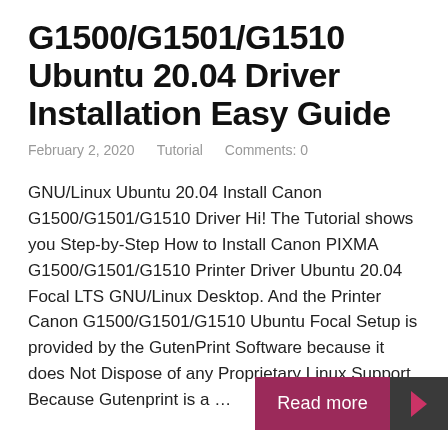G1500/G1501/G1510 Ubuntu 20.04 Driver Installation Easy Guide
February 2, 2020    Tutorial    Comments: 0
GNU/Linux Ubuntu 20.04 Install Canon G1500/G1501/G1510 Driver Hi! The Tutorial shows you Step-by-Step How to Install Canon PIXMA G1500/G1501/G1510 Printer Driver Ubuntu 20.04 Focal LTS GNU/Linux Desktop. And the Printer Canon G1500/G1501/G1510 Ubuntu Focal Setup is provided by the GutenPrint Software because it does Not Dispose of any Proprietary Linux Support. Because Gutenprint is a ...